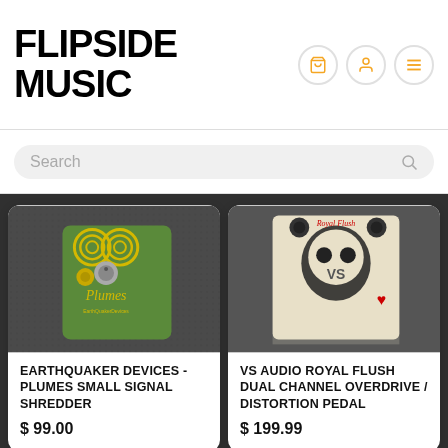FLIPSIDE MUSIC
Search
[Figure (photo): EarthQuaker Devices Plumes Small Signal Shredder guitar pedal - green pedal with yellow swirl design on dark fabric background]
EARTHQUAKER DEVICES - PLUMES SMALL SIGNAL SHREDDER
$ 99.00
[Figure (photo): VS Audio Royal Flush Dual Channel Overdrive/Distortion Pedal - cream/beige pedal with skull illustration on dark background]
VS AUDIO ROYAL FLUSH DUAL CHANNEL OVERDRIVE / DISTORTION PEDAL
$ 199.99